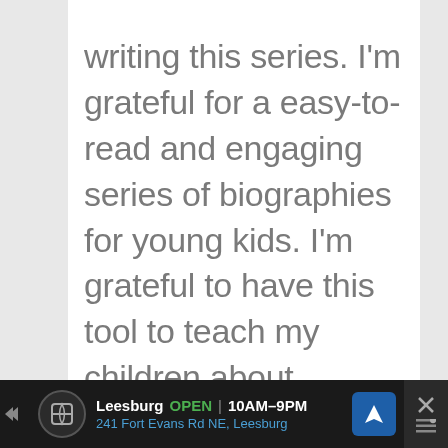writing this series. I'm grateful for a easy-to-read and engaging series of biographies for young kids. I'm grateful to have this tool to teach my children about amazing people who did extraordinary things in a way that shows them that
[Figure (screenshot): Advertisement bar at bottom: Leesburg store ad showing OPEN 10AM-9PM, 241 Fort Evans Rd NE, Leesburg with navigation icon and close button]